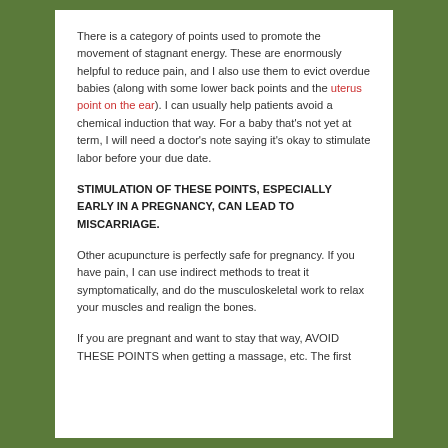There is a category of points used to promote the movement of stagnant energy. These are enormously helpful to reduce pain, and I also use them to evict overdue babies (along with some lower back points and the uterus point on the ear). I can usually help patients avoid a chemical induction that way. For a baby that's not yet at term, I will need a doctor's note saying it's okay to stimulate labor before your due date.
STIMULATION OF THESE POINTS, ESPECIALLY EARLY IN A PREGNANCY, CAN LEAD TO MISCARRIAGE.
Other acupuncture is perfectly safe for pregnancy. If you have pain, I can use indirect methods to treat it symptomatically, and do the musculoskeletal work to relax your muscles and realign the bones.
If you are pregnant and want to stay that way, AVOID THESE POINTS when getting a massage, etc. The first